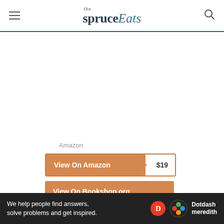the spruce Eats
Amazon
View On Amazon $19
View On Bookshop.org
What We Like
We help people find answers, solve problems and get inspired. Dotdash meredith